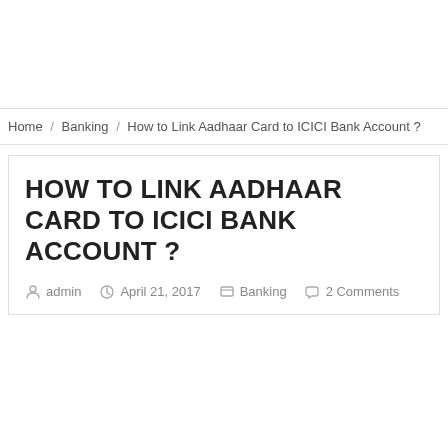Home / Banking / How to Link Aadhaar Card to ICICI Bank Account ?
HOW TO LINK AADHAAR CARD TO ICICI BANK ACCOUNT ?
admin   April 21, 2017   Banking   2 Comments